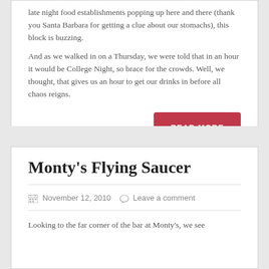late night food establishments popping up here and there (thank you Santa Barbara for getting a clue about our stomachs), this block is buzzing. And as we walked in on a Thursday, we were told that in an hour it would be College Night, so brace for the crowds. Well, we thought, that gives us an hour to get our drinks in before all chaos reigns.
READ MORE
Monty's Flying Saucer
November 12, 2010   Leave a comment
Looking to the far corner of the bar at Monty's, we see